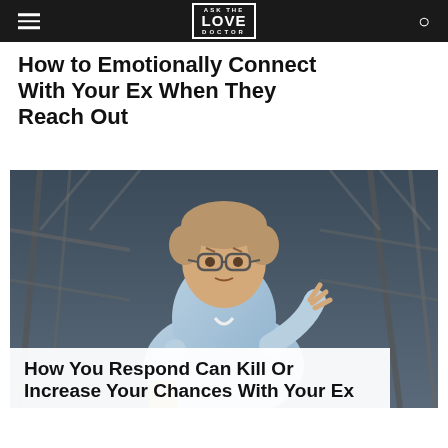ASK THE LOVE DOCTOR
How to Emotionally Connect With Your Ex When They Reach Out
[Figure (photo): Young man with glasses wearing a light blue shirt, looking frustrated or confused while holding a smartphone and gesturing with his other hand, seated near metal railing structure]
How You Respond Can Kill Or Increase Your Chances With Your Ex